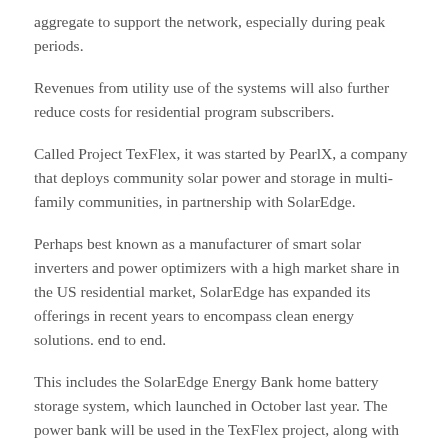aggregate to support the network, especially during peak periods.
Revenues from utility use of the systems will also further reduce costs for residential program subscribers.
Called Project TexFlex, it was started by PearlX, a company that deploys community solar power and storage in multi-family communities, in partnership with SolarEdge.
Perhaps best known as a manufacturer of smart solar inverters and power optimizers with a high market share in the US residential market, SolarEdge has expanded its offerings in recent years to encompass clean energy solutions. end to end.
This includes the SolarEdge Energy Bank home battery storage system, which launched in October last year. The power bank will be used in the TexFlex project, along with